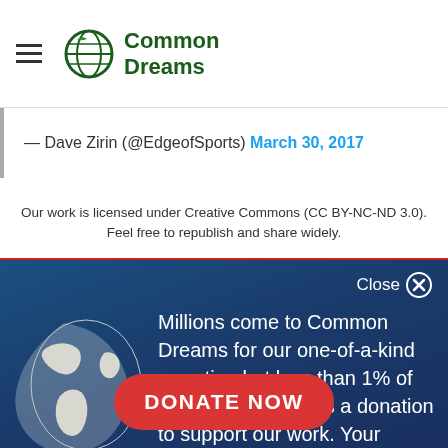Common Dreams
— Dave Zirin (@EdgeofSports) March 30, 2017
Our work is licensed under Creative Commons (CC BY-NC-ND 3.0). Feel free to republish and share widely.
[Figure (infographic): Common Dreams donation overlay with globe icon, text about millions of readers and less than 1% donating, and a red DONATE NOW button]
Millions come to Common Dreams for our one-of-a-kind reporting but less than 1% of readers ever makes a donation to support our work. Your donations are our lifeblood.